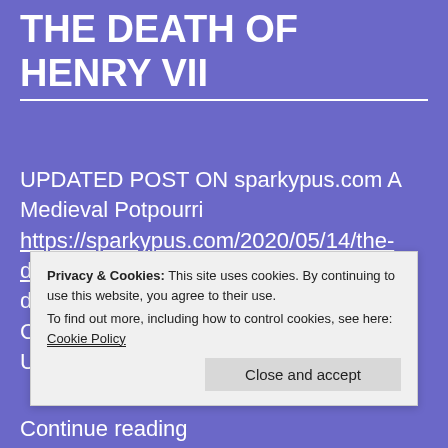THE DEATH OF HENRY VII
UPDATED POST ON sparkypus.com A Medieval Potpourri https://sparkypus.com/2020/05/14/the-death-of-henry-vii/ Henry VII on his deathbed : Wriothesley's Heraldic Collection Vol 1 Book of Funerals. c Unknown artist's impression of t...
Privacy & Cookies: This site uses cookies. By continuing to use this website, you agree to their use.
To find out more, including how to control cookies, see here: Cookie Policy
[Close and accept]
Continue reading